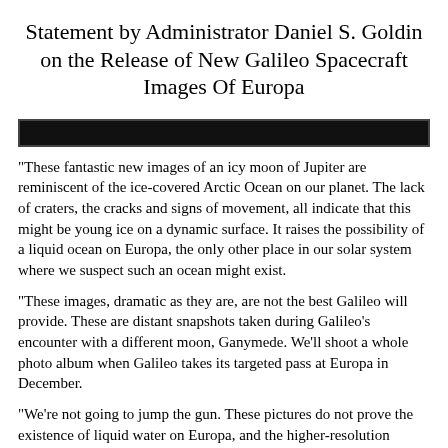Statement by Administrator Daniel S. Goldin on the Release of New Galileo Spacecraft Images Of Europa
[Figure (other): A solid black horizontal bar spanning the full width of the page, used as a decorative or section divider element.]
"These fantastic new images of an icy moon of Jupiter are reminiscent of the ice-covered Arctic Ocean on our planet. The lack of craters, the cracks and signs of movement, all indicate that this might be young ice on a dynamic surface. It raises the possibility of a liquid ocean on Europa, the only other place in our solar system where we suspect such an ocean might exist.
"These images, dramatic as they are, are not the best Galileo will provide. These are distant snapshots taken during Galileo's encounter with a different moon, Ganymede. We'll shoot a whole photo album when Galileo takes its targeted pass at Europa in December.
"We're not going to jump the gun. These pictures do not prove the existence of liquid water on Europa, and the higher-resolution